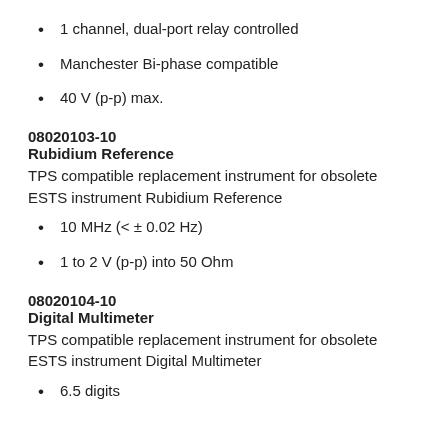1 channel, dual-port relay controlled
Manchester Bi-phase compatible
40 V (p-p) max.
08020103-10
Rubidium Reference
TPS compatible replacement instrument for obsolete ESTS instrument Rubidium Reference
10 MHz (< ± 0.02 Hz)
1 to 2 V (p-p) into 50 Ohm
08020104-10
Digital Multimeter
TPS compatible replacement instrument for obsolete ESTS instrument Digital Multimeter
6.5 digits